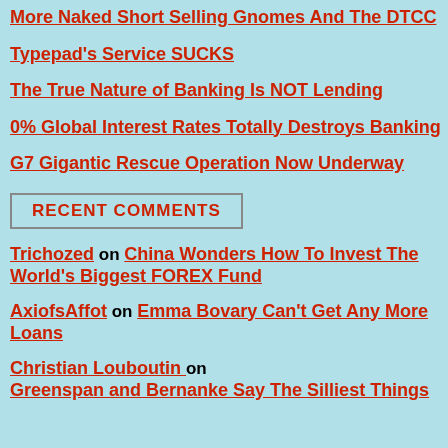More Naked Short Selling Gnomes And The DTCC
Typepad's Service SUCKS
The True Nature of Banking Is NOT Lending
0% Global Interest Rates Totally Destroys Banking
G7 Gigantic Rescue Operation Now Underway
RECENT COMMENTS
Trichozed on China Wonders How To Invest The World's Biggest FOREX Fund
AxiofsAffot on Emma Bovary Can't Get Any More Loans
Christian Louboutin on Greenspan and Bernanke Say The Silliest Things
Sunshine is an economist who sa... Seeking Alpha. I and other reade... enjoy. Also, we notice that our an... data was correct, the news about... shows the collapse continuing. E... temporarily, the underlying trade... its trade deficit fall but this was 10... The cost of this fall in imports wa... through the nose for oil. Everyone... poorer thanks to this.
First, Mr. Sunshine Man attacks t... the M3 data going despite the cri... hiding this information:
Mark Sunshine at Seeking Alpha... Data That Doesn't Exist
Many so called "prominent... Statos and Great Britain...